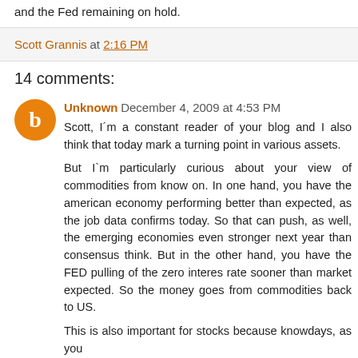and the Fed remaining on hold.
Scott Grannis at 2:16 PM
14 comments:
Unknown December 4, 2009 at 4:53 PM
Scott, I´m a constant reader of your blog and I also think that today mark a turning point in various assets.

But I`m particularly curious about your view of commodities from know on. In one hand, you have the american economy performing better than expected, as the job data confirms today. So that can push, as well, the emerging economies even stronger next year than consensus think. But in the other hand, you have the FED pulling of the zero interes rate sooner than market expected. So the money goes from commodities back to US.

This is also important for stocks because knowdays, as you